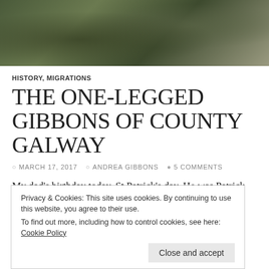[Figure (photo): Hero image of a rural path or trail through green grass and rocky terrain in Ireland]
HISTORY, MIGRATIONS
THE ONE-LEGGED GIBBONS OF COUNTY GALWAY
MARCH 17, 2017   ANDREA GIBBONS   5 COMMENTS
My dad's birthday today, St Patrick's day. He was Patrick Colum Gibbons. In of course, but only named for St Patrick...
Privacy & Cookies: This site uses cookies. By continuing to use this website, you agree to their use.
To find out more, including how to control cookies, see here: Cookie Policy